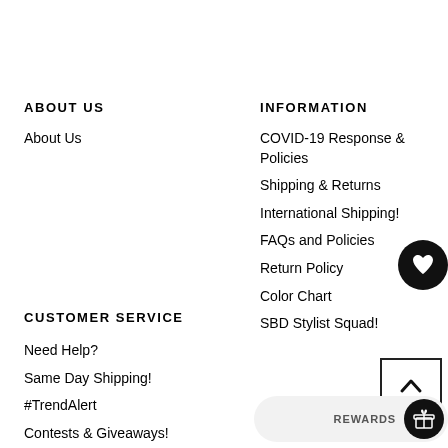ABOUT US
About Us
INFORMATION
COVID-19 Response & Policies
Shipping & Returns
International Shipping!
FAQs and Policies
Return Policy
Color Chart
SBD Stylist Squad!
CUSTOMER SERVICE
Need Help?
Same Day Shipping!
#TrendAlert
Contests & Giveaways!
[Figure (infographic): Black circular button with white heart icon (wishlist/favourite button)]
[Figure (infographic): Square back-to-top button with upward chevron icon]
[Figure (infographic): Rewards bar with REWARDS label and black circular icon with gift/cake icon]